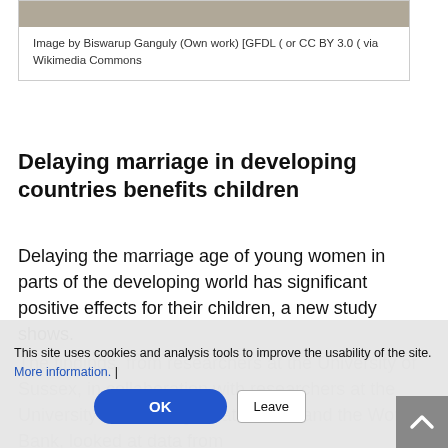[Figure (photo): Partial image of a document or object, cropped at top edge]
Image by Biswarup Ganguly (Own work) [GFDL ( or CC BY 3.0 ( via Wikimedia Commons
Delaying marriage in developing countries benefits children
Delaying the marriage age of young women in parts of the developing world has significant positive effects for their children, a new study shows.
The findings, from researchers at the University of Sussex, in collaboration with researchers at the University of Washington at Seattle and the World Bank, looked at data from
This site uses cookies and analysis tools to improve the usability of the site. More information. |
OK
Leave